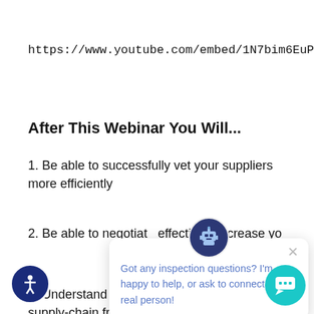https://www.youtube.com/embed/1N7bim6EuPY
After This Webinar You Will...
1. Be able to successfully vet your suppliers more efficiently
2. Be able to negotiate... effectively increase yo...
3. Understand the various moving gears that supply-chain from sourcing to productio... avoid falling into the trap of misconceptions that
[Figure (screenshot): Chat popup overlay with robot avatar, text 'Got any inspection questions? I’m happy to help, or ask to connect with a real person!' and a close (x) button]
[Figure (other): Teal chat launcher button (bottom right)]
[Figure (other): Accessibility icon button (bottom left, dark blue circle with person icon)]